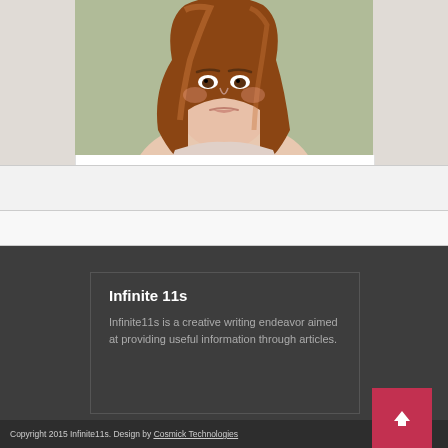[Figure (photo): Photo of a woman with long auburn hair making a pouty or displeased expression, set against a light green/grey background. The image is cropped at the shoulders showing her from roughly chest up.]
Infinite 11s
Infinite11s is a creative writing endeavor aimed at providing useful information through articles.
Copyright 2015 Infinite11s. Design by Cosmick Technologies